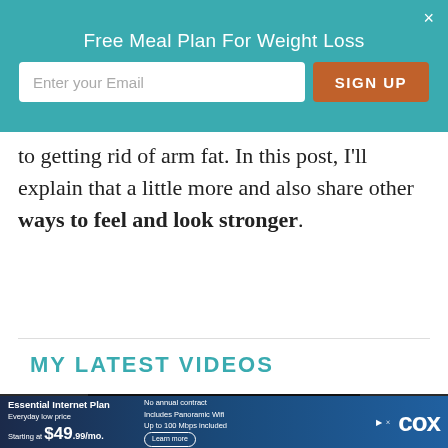[Figure (infographic): Email signup banner with teal background. Title: 'Free Meal Plan For Weight Loss'. Email input field and orange SIGN UP button. Close button (×) in top right corner.]
to getting rid of arm fat. In this post, I'll explain that a little more and also share other ways to feel and look stronger.
MY LATEST VIDEOS
[Figure (screenshot): Video player showing error message: 'The video cannot be played in this browser. (Error Code: 242632)' with a play icon above. 'A SWEET PEA' badge in top left. Dark background.]
[Figure (infographic): Cox advertisement banner. Essential Internet Plan. Everyday low price Starting at $49.99/mo. No annual contract. Includes Panoramic Wifi. Up to 100 Mbps included. Learn more button. COX logo.]